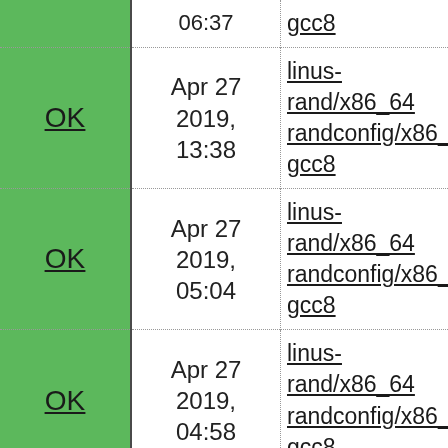| Status | Date | Configuration |
| --- | --- | --- |
| OK | Apr 27 2019, 13:38 | linus-rand/x86_64 randconfig/x86_6 gcc8 |
| OK | Apr 27 2019, 05:04 | linus-rand/x86_64 randconfig/x86_6 gcc8 |
| OK | Apr 27 2019, 04:58 | linus-rand/x86_64 randconfig/x86_6 gcc8 |
| OK | Apr 26 2019, 07:59 | linus-rand/x86_64 randconfig/x86_6 gcc8 |
| OK | Apr 26 2019, 04:37 | linus-rand/x86_64 randconfig/x86_6 gcc8 |
| OK | Apr 25 2019, 13:22 | linus-rand/x86_64 randconfig/x86_6 gcc8 |